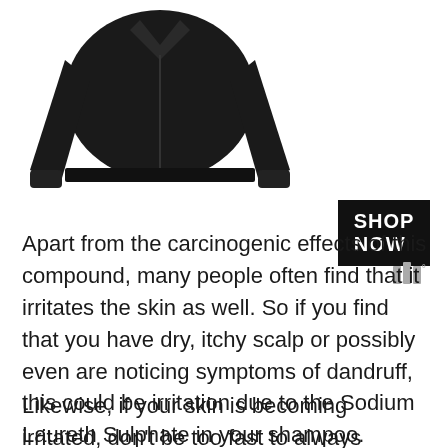[Figure (photo): Black jacket/hoodie product photo shown from the front, with arms visible]
[Figure (other): SHOP NOW button in black background with white bold text, and a small logo with three bars and a degree symbol]
Apart from the carcinogenic effects of this compound, many people often find that it irritates the skin as well. So if you find that you have dry, itchy scalp or possibly even are noticing symptoms of dandruff, this could be irritation due to the Sodium Laureth Sulphate in your shampoo.
Likewise, if your skin is becoming irritated, don't be too fast to always assume it's your body